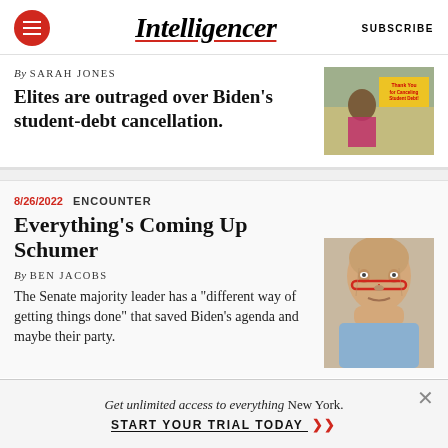Intelligencer
By SARAH JONES
Elites are outraged over Biden's student-debt cancellation.
[Figure (photo): Photo of protesters with sign reading 'Thank You for Canceling Student Debt!']
8/26/2022  ENCOUNTER
Everything's Coming Up Schumer
By BEN JACOBS
The Senate majority leader has a “different way of getting things done” that saved Biden’s agenda and maybe their party.
[Figure (photo): Close-up photo of Chuck Schumer wearing red-rimmed glasses]
Get unlimited access to everything New York. START YOUR TRIAL TODAY »